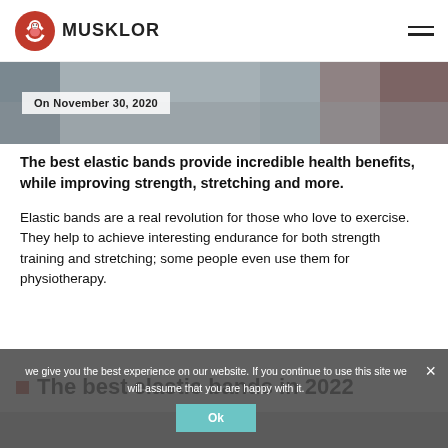MUSKLOR
On November 30, 2020
The best elastic bands provide incredible health benefits, while improving strength, stretching and more.
Elastic bands are a real revolution for those who love to exercise. They help to achieve interesting endurance for both strength training and stretching; some people even use them for physiotherapy.
The best elastic bands in 2022
we give you the best experience on our website. If you continue to use this site we will assume that you are happy with it.